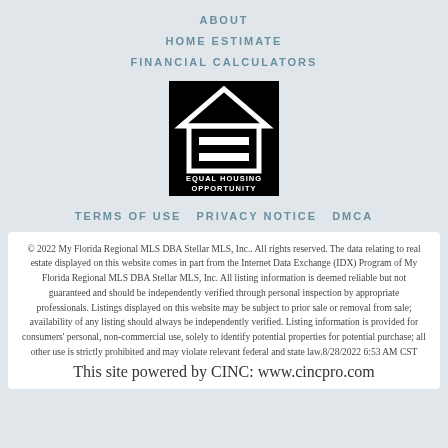ABOUT
HOME ESTIMATE
FINANCIAL CALCULATORS
[Figure (logo): Equal Housing Opportunity logo — black square with white house outline and equals sign, text 'EQUAL HOUSING OPPORTUNITY' below]
TERMS OF USE  PRIVACY NOTICE  DMCA
© 2022 My Florida Regional MLS DBA Stellar MLS, Inc.. All rights reserved. The data relating to real estate displayed on this website comes in part from the Internet Data Exchange (IDX) Program of My Florida Regional MLS DBA Stellar MLS, Inc. All listing information is deemed reliable but not guaranteed and should be independently verified through personal inspection by appropriate professionals. Listings displayed on this website may be subject to prior sale or removal from sale; availability of any listing should always be independently verified. Listing information is provided for consumers' personal, non-commercial use, solely to identify potential properties for potential purchase; all other use is strictly prohibited and may violate relevant federal and state law.8/28/2022 6:53 AM CST
This site powered by CINC: www.cincpro.com